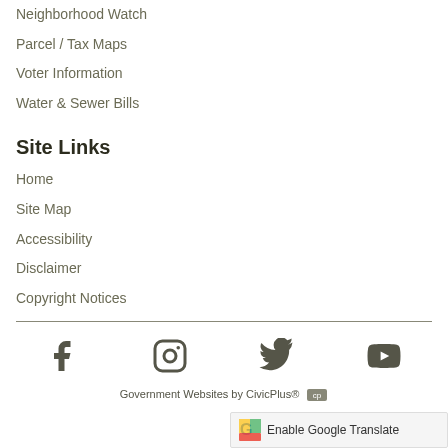Neighborhood Watch
Parcel / Tax Maps
Voter Information
Water & Sewer Bills
Site Links
Home
Site Map
Accessibility
Disclaimer
Copyright Notices
[Figure (infographic): Social media icons: Facebook, Instagram, Twitter, YouTube]
Government Websites by CivicPlus®